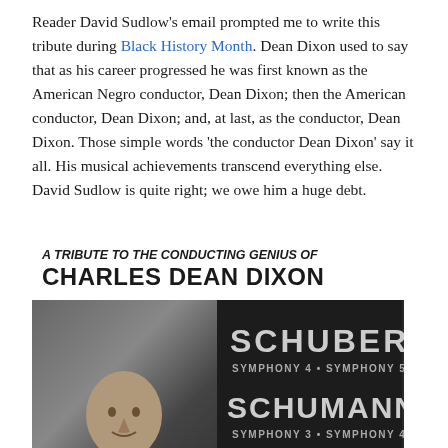Reader David Sudlow's email prompted me to write this tribute during Black History Month. Dean Dixon used to say that as his career progressed he was first known as the American Negro conductor, Dean Dixon; then the American conductor, Dean Dixon; and, at last, as the conductor, Dean Dixon. Those simple words 'the conductor Dean Dixon' say it all. His musical achievements transcend everything else. David Sudlow is quite right; we owe him a huge debt.
[Figure (photo): Album cover for a tribute to the conducting genius of Charles Dean Dixon, featuring a black and white photo of Dean Dixon on the left, and on the right text listing SCHUBERT Symphony 4 • Symphony 5 and SCHUMANN Symphony 3 • Symphony 4]